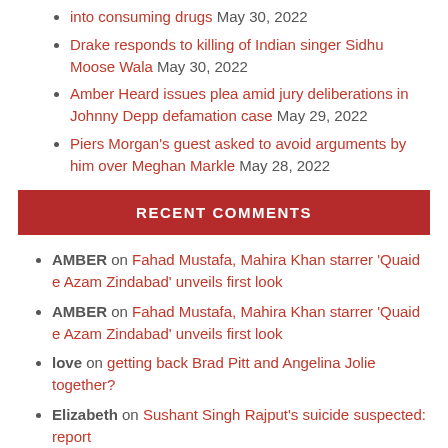into consuming drugs May 30, 2022
Drake responds to killing of Indian singer Sidhu Moose Wala May 30, 2022
Amber Heard issues plea amid jury deliberations in Johnny Depp defamation case May 29, 2022
Piers Morgan's guest asked to avoid arguments by him over Meghan Markle May 28, 2022
RECENT COMMENTS
AMBER on Fahad Mustafa, Mahira Khan starrer 'Quaid e Azam Zindabad' unveils first look
AMBER on Fahad Mustafa, Mahira Khan starrer 'Quaid e Azam Zindabad' unveils first look
love on getting back Brad Pitt and Angelina Jolie together?
Elizabeth on Sushant Singh Rajput's suicide suspected: report